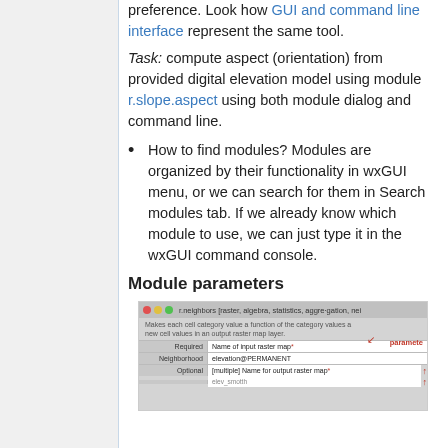preference. Look how GUI and command line interface represent the same tool.
Task: compute aspect (orientation) from provided digital elevation model using module r.slope.aspect using both module dialog and command line.
How to find modules? Modules are organized by their functionality in wxGUI menu, or we can search for them in Search modules tab. If we already know which module to use, we can just type it in the wxGUI command console.
Module parameters
[Figure (screenshot): Screenshot of r.neighbors module dialog showing parameters including Name of input raster map with value elevation@PERMANENT, and Name for output raster map labeled as Optional. Red arrows and labels highlight the 'parameter' concept.]